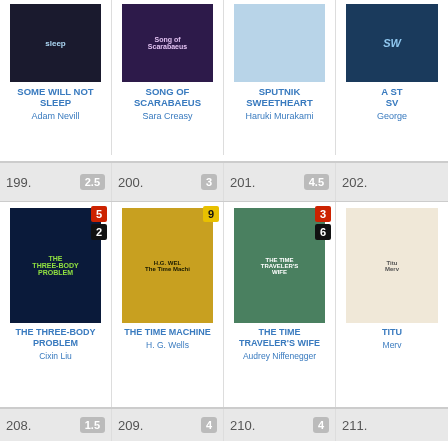[Figure (illustration): Book cover: Some Will Not Sleep by Adam Nevill]
SOME WILL NOT SLEEP
Adam Nevill
[Figure (illustration): Book cover: Song of Scarabaeus by Sara Creasy]
SONG OF SCARABAEUS
Sara Creasy
[Figure (illustration): Book cover: Sputnik Sweetheart by Haruki Murakami]
SPUTNIK SWEETHEART
Haruki Murakami
A ST... SW...
George
199.  2.5
200.  3
201.  4.5
202.
[Figure (illustration): Book cover: The Three-Body Problem by Cixin Liu, badges: 5, 2]
THE THREE-BODY PROBLEM
Cixin Liu
[Figure (illustration): Book cover: The Time Machine by H. G. Wells, badge: 9]
THE TIME MACHINE
H. G. Wells
[Figure (illustration): Book cover: The Time Traveler's Wife by Audrey Niffenegger, badges: 3, 6]
THE TIME TRAVELER'S WIFE
Audrey Niffenegger
TITU...
Merv...
208.  1.5
209.  4
210.  4
211.